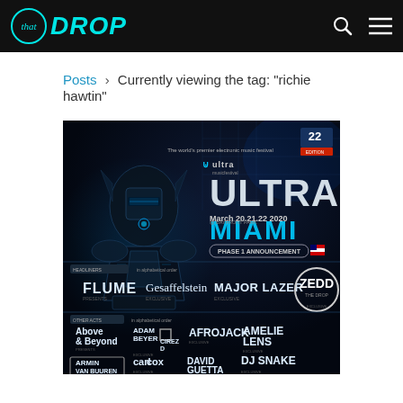that DROP — navigation header with search and menu icons
Posts > Currently viewing the tag: "richie hawtin"
[Figure (photo): Ultra Music Festival Miami 2020 Phase 1 Announcement lineup poster. March 20,21,22 2020 at Bayfront Park. Headliners: Flume, Gesaffelstein, Major Lazer, Zedd. Other acts include Above & Beyond, Adam Beyer, Cirez D, Afrojack, Amelie Lens, Armin Van Buuren, Carl Cox, David Guetta, DJ Snake, Dubfire, and more.]